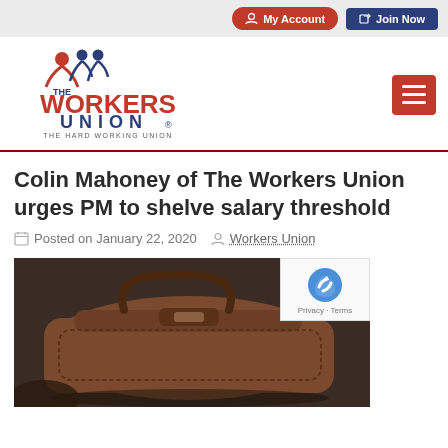My Account  Join Now
[Figure (logo): The Workers Union logo — red figure with blue figures, text: THE WORKERS UNION — THE HARD WORKING UNION]
Colin Mahoney of The Workers Union urges PM to shelve salary threshold
Posted on January 22, 2020  Workers Union
[Figure (photo): Close-up photo of a brown leather bag/briefcase on a dark surface]